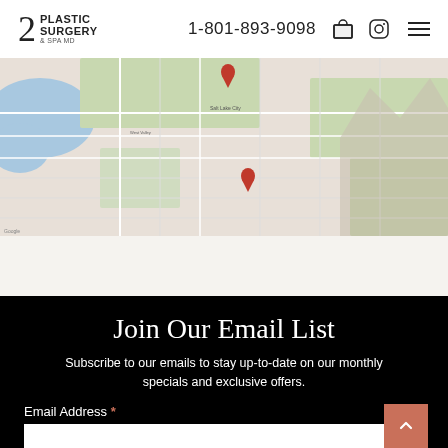2 PLASTIC SURGERY & SPA MD | 1-801-893-9098
[Figure (map): Google Maps screenshot showing Salt Lake City area with a red location pin marker in the southern part of the city]
Join Our Email List
Subscribe to our emails to stay up-to-date on our monthly specials and exclusive offers.
Email Address *